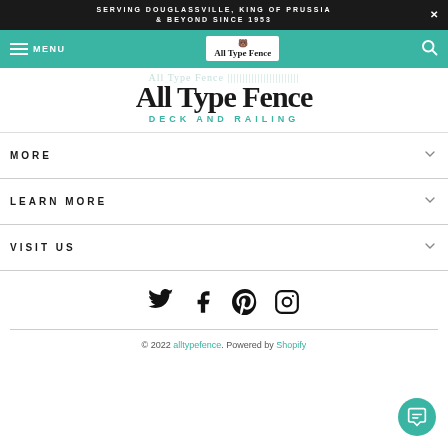SERVING DOUGLASSVILLE, KING OF PRUSSIA & BEYOND SINCE 1953
[Figure (logo): All Type Fence logo in teal navigation bar with menu icon and search icon]
All Type Fence DECK AND RAILING
MORE
LEARN MORE
VISIT US
[Figure (illustration): Social media icons: Twitter, Facebook, Pinterest, Instagram]
© 2022 alltypefence. Powered by Shopify